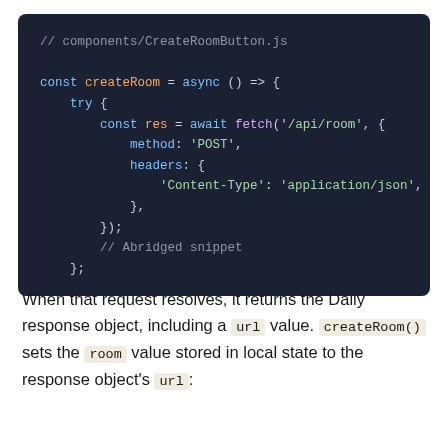[Figure (screenshot): Dark-themed code block showing JavaScript async function createRoom with fetch call to /api/room using POST method and Content-Type application/json header]
When that request resolves, it returns the Daily response object, including a url value. createRoom() sets the room value stored in local state to the response object's url: